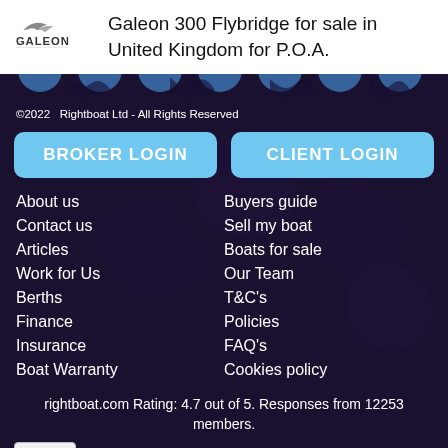[Figure (logo): Galeon brand logo with stylized bird/wing above text GALEON]
Galeon 300 Flybridge for sale in United Kingdom for P.O.A.
©2022   Rightboat Ltd - All Rights Reserved
BROKER LOGIN
CLIENT LOGIN
About us
Contact us
Articles
Work for Us
Berths
Finance
Insurance
Boat Warranty
Buyers guide
Sell my boat
Boats for sale
Our Team
T&C's
Policies
FAQ's
Cookies policy
rightboat.com Rating: 4.7 out of 5. Responses from 12253 members.
[Figure (other): reCAPTCHA widget with Privacy - Terms label]
20382557